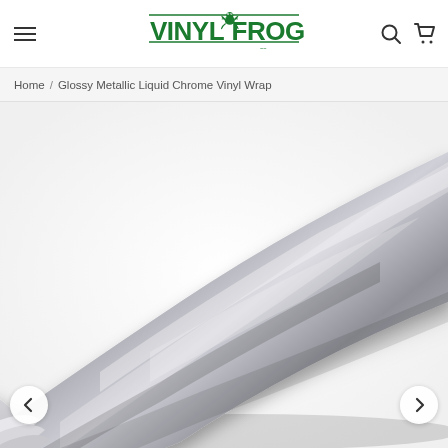VINYL FROG — navigation header with menu, logo, search and cart icons
Home / Glossy Metallic Liquid Chrome Vinyl Wrap
[Figure (photo): A roll of glossy metallic liquid chrome silver vinyl wrap film, photographed at an angle showing the reflective, smooth surface of the roll. The vinyl has a shiny chrome/silver metallic finish.]